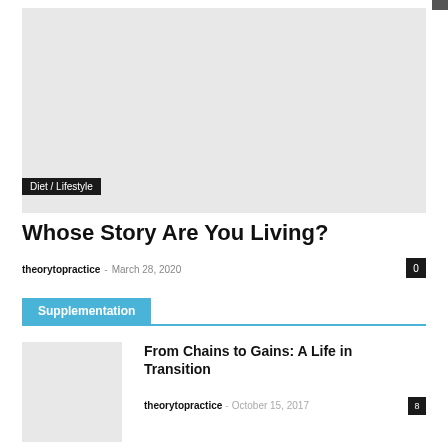[Figure (photo): Large hero image placeholder with light gray background]
Diet / Lifestyle
Whose Story Are You Living?
theorytopractice – March 28, 2020   0
Supplementation
[Figure (photo): Small thumbnail image placeholder with light gray background]
From Chains to Gains: A Life in Transition
theorytopractice – October 15, 2017   8